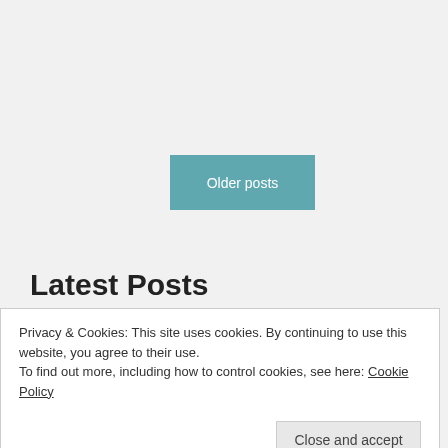Older posts
Latest Posts
(no title)
LISA RENEE: "Metatronic Implants"
Privacy & Cookies: This site uses cookies. By continuing to use this website, you agree to their use.
To find out more, including how to control cookies, see here: Cookie Policy
Close and accept